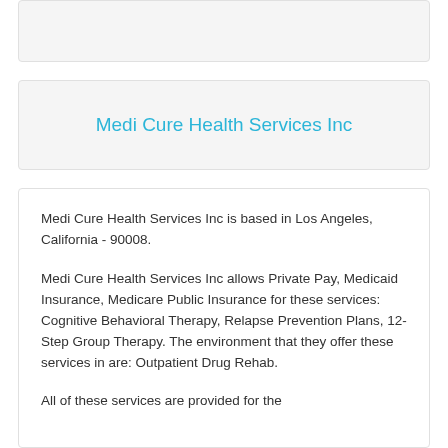Medi Cure Health Services Inc
Medi Cure Health Services Inc is based in Los Angeles, California - 90008.
Medi Cure Health Services Inc allows Private Pay, Medicaid Insurance, Medicare Public Insurance for these services: Cognitive Behavioral Therapy, Relapse Prevention Plans, 12-Step Group Therapy. The environment that they offer these services in are: Outpatient Drug Rehab.
All of these services are provided for the